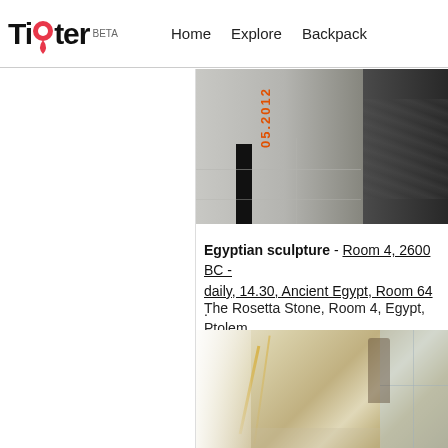Tipter BETA  Home  Explore  Backpack
[Figure (photo): Museum wall photo with orange vertical date text '05.2012', a black vertical bar, and dark sculptural mass on the right]
Egyptian sculpture - Room 4, 2600 BC - daily, 14.30, Ancient Egypt, Room 64 .
The Rosetta Stone, Room 4, Egypt, Ptolem
[Figure (photo): Interior museum photo showing glass reflections, warm beige tones, a figure visible through glass, and window light on the right]